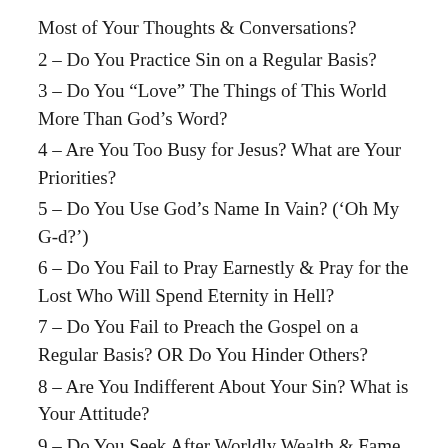Most of Your Thoughts & Conversations?
2 – Do You Practice Sin on a Regular Basis?
3 – Do You “Love” The Things of This World More Than God’s Word?
4 – Are You Too Busy for Jesus? What are Your Priorities?
5 – Do You Use God’s Name In Vain? (‘Oh My G-d?’)
6 – Do You Fail to Pray Earnestly & Pray for the Lost Who Will Spend Eternity in Hell?
7 – Do You Fail to Preach the Gospel on a Regular Basis? OR Do You Hinder Others?
8 – Are You Indifferent About Your Sin? What is Your Attitude?
9 – Do You Seek After Worldly Wealth & Fame vs Seeking First The Kingdom of God?